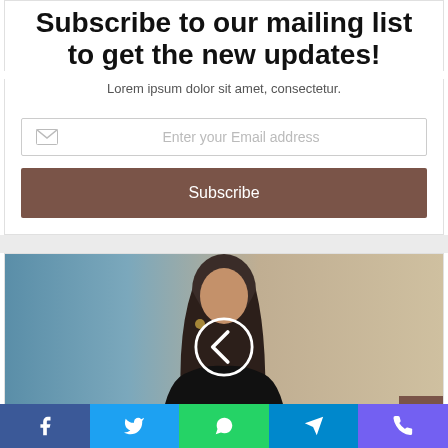Subscribe to our mailing list to get the new updates!
Lorem ipsum dolor sit amet, consectetur.
Enter your Email address
Subscribe
[Figure (photo): A woman with long dark hair wearing a dark top, standing in front of a blurred office/city background. A circular left-arrow navigation button is overlaid in the center. A back-to-top button is in the bottom-right corner.]
[Figure (infographic): Social share bar with Facebook, Twitter, WhatsApp, Telegram, and Viber buttons]